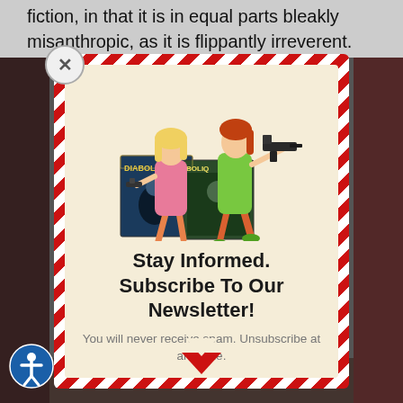fiction, in that it is in equal parts bleakly misanthropic, as it is flippantly irreverent.
[Figure (illustration): Two illustrated women in vintage spy/action style holding guns, standing in front of two pulp magazine covers labeled 'Diabolique']
Stay Informed. Subscribe To Our Newsletter!
You will never receive spam. Unsubscribe at any time.